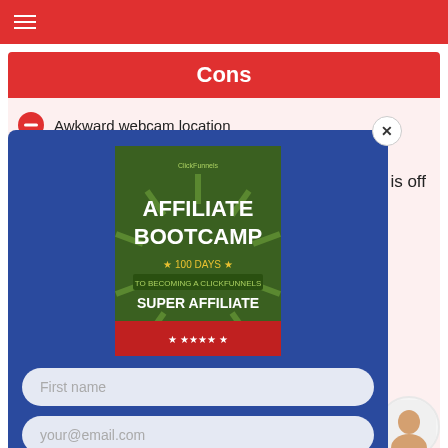≡
Cons
Awkward webcam location
is off
[Figure (illustration): Affiliate Bootcamp book cover — green background with sunburst, title AFFILIATE BOOTCAMP, subtitle 100 DAYS TO BECOMING A CLICKFUNNELS SUPER AFFILIATE]
First name
your@email.com
DOWNLOAD FREE AFFILIATE GUIDE
to find naloxone near you.